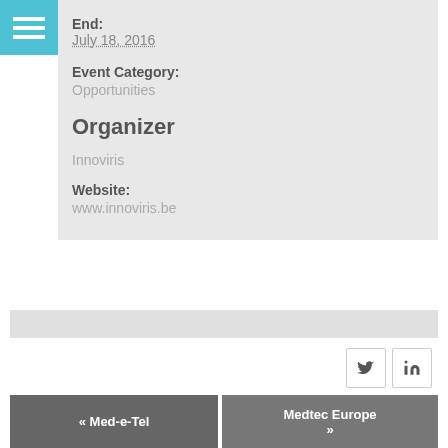[Figure (other): Hamburger menu icon — three white horizontal lines on a sky-blue square background]
End:
July 18, 2016
Event Category:
Opportunities
Organizer
Innoviris
Website:
www.innoviris.be
[Figure (other): Twitter bird icon social share button]
[Figure (other): LinkedIn 'in' icon social share button]
« Med-e-Tel
Medtec Europe »